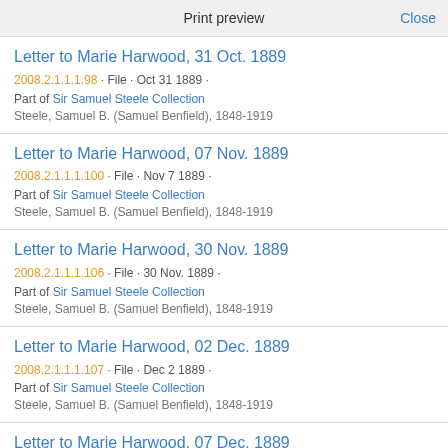Print preview   Close
Letter to Marie Harwood, 31 Oct. 1889
2008.2.1.1.1.98 · File · Oct 31 1889 ·
Part of Sir Samuel Steele Collection
Steele, Samuel B. (Samuel Benfield), 1848-1919
Letter to Marie Harwood, 07 Nov. 1889
2008.2.1.1.1.100 · File · Nov 7 1889 ·
Part of Sir Samuel Steele Collection
Steele, Samuel B. (Samuel Benfield), 1848-1919
Letter to Marie Harwood, 30 Nov. 1889
2008.2.1.1.1.106 · File · 30 Nov. 1889 ·
Part of Sir Samuel Steele Collection
Steele, Samuel B. (Samuel Benfield), 1848-1919
Letter to Marie Harwood, 02 Dec. 1889
2008.2.1.1.1.107 · File · Dec 2 1889 ·
Part of Sir Samuel Steele Collection
Steele, Samuel B. (Samuel Benfield), 1848-1919
Letter to Marie Harwood, 07 Dec. 1889